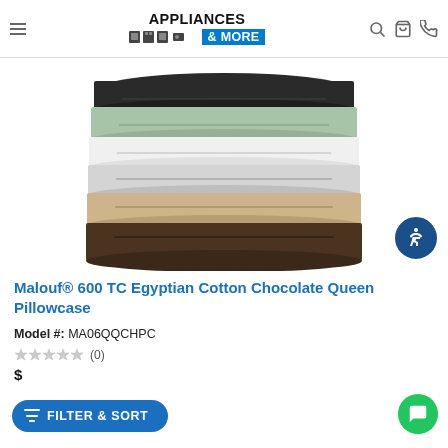Appliances & More — navigation header with logo, search, cart, phone icons
[Figure (photo): Stack of folded bed sheet sets in multiple colors: black, sage green, white/cream, light gray, tan/khaki, and dark brown/chocolate, showing various Egyptian cotton pillow cases and sheets neatly folded]
Malouf® 600 TC Egyptian Cotton Chocolate Queen Pillowcase
Model #: MA06QQCHPC
(0) reviews — star rating
Price row (partially visible)